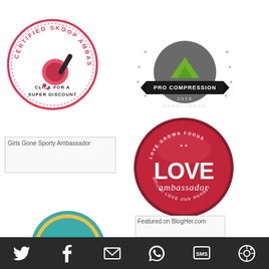[Figure (logo): Certified Skoop Ambassador badge - circular badge with red ladle/scoop icon, red circular border, text 'CERTIFIED SKOOP AMBASSADOR' around top and 'CLICK FOR A SUPER DISCOUNT' at bottom]
[Figure (logo): Pro Compression 2018 Ambassador badge - circular gray badge with green mountain/chevron logo, stars around, black ribbon banner with 'PRO COMPRESSION' text, '2018 AMBASSADOR' below]
[Figure (logo): Love Grown Foods LOVE Ambassador badge - large red circular button badge with 'LOVE GROWN FOODS' at top, large 'LOVE' text, cursive 'ambassador' script, 'official LOVE club member' at bottom]
[Figure (logo): Girls Gone Sporty Ambassador - broken image placeholder]
[Figure (logo): Featured on BlogHer.com - broken image placeholder]
[Figure (logo): Partial teal/yellow decorative badge at bottom left]
[Figure (infographic): Social sharing toolbar with Twitter, Facebook, Email, WhatsApp, SMS, and camera/share icons on dark background]